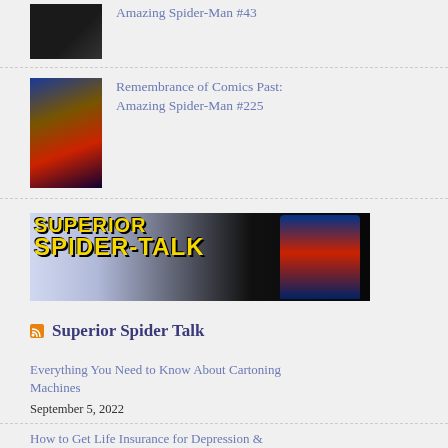Amazing Spider-Man #43
Remembrance of Comics Past: Amazing Spider-Man #225
[Figure (illustration): Superior Spider-Talk banner image with comic-style lettering in yellow on dark background, figure tearing open shirt to reveal Spider-Man costume]
Superior Spider Talk
Everything You Need to Know About Cartoning Machines
September 5, 2022
How to Get Life Insurance for Depression & Anxiety?
September 5, 2022